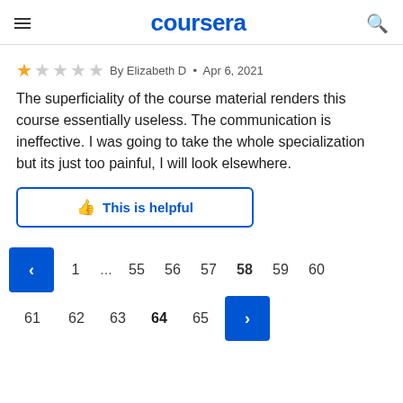coursera
★☆☆☆☆ By Elizabeth D • Apr 6, 2021
The superficiality of the course material renders this course essentially useless. The communication is ineffective. I was going to take the whole specialization but its just too painful, I will look elsewhere.
This is helpful
< 1 ... 55 56 57 58 59 60 61 62 63 64 65 >